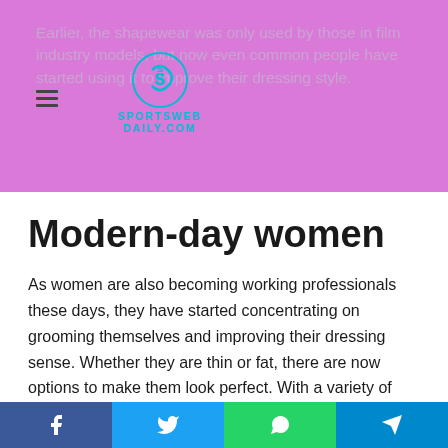Earlier, the shapewear was only used by those in film industry models, but now even common people have started using it to improve their dressing style.
Modern-day women
As women are also becoming working professionals these days, they have started concentrating on grooming themselves and improving their dressing sense. Whether they are thin or fat, there are now options to make them look perfect. With a variety of shapewear available in the market, they can comfortably use them to improve their self-confidence. In this way, these have proved to be a boon for women.
Unlike the old corsets that could even lead to body pain, modern-day shapewear has brought more comfort and ease.
Facebook | Twitter | WhatsApp | Telegram